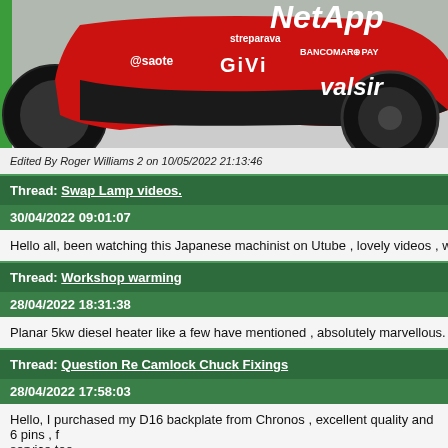[Figure (photo): Racing motorcycle with red and black livery showing sponsors NetApp, valsir, GIVI, esaote, streparava, BANCOMAR PAY]
Edited By Roger Williams 2 on 10/05/2022 21:13:46
Thread: Swap Lamp videos.
30/04/2022 09:01:07
Hello all, been watching this Japanese machinist on Utube , lovely videos , well wo
Thread: Workshop warming
28/04/2022 18:31:38
Planar 5kw diesel heater like a few have mentioned , absolutely marvellous.
Thread: Question Re Camlock Chuck Fixings
28/04/2022 17:58:03
Hello, I purchased my D16 backplate from Chronos , excellent quality and 6 pins , f service too.